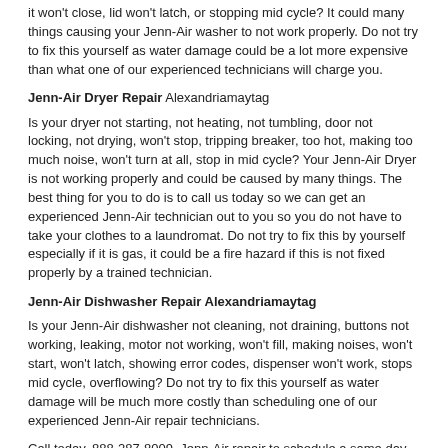it won't close, lid won't latch, or stopping mid cycle? It could many things causing your Jenn-Air washer to not work properly. Do not try to fix this yourself as water damage could be a lot more expensive than what one of our experienced technicians will charge you.
Jenn-Air Dryer Repair Alexandriamaytag
Is your dryer not starting, not heating, not tumbling, door not locking, not drying, won't stop, tripping breaker, too hot, making too much noise, won't turn at all, stop in mid cycle? Your Jenn-Air Dryer is not working properly and could be caused by many things. The best thing for you to do is to call us today so we can get an experienced Jenn-Air technician out to you so you do not have to take your clothes to a laundromat. Do not try to fix this by yourself especially if it is gas, it could be a fire hazard if this is not fixed properly by a trained technician.
Jenn-Air Dishwasher Repair Alexandriamaytag
Is your Jenn-Air dishwasher not cleaning, not draining, buttons not working, leaking, motor not working, won't fill, making noises, won't start, won't latch, showing error codes, dispenser won't work, stops mid cycle, overflowing? Do not try to fix this yourself as water damage will be much more costly than scheduling one of our experienced Jenn-Air repair technicians.
Call today, 888-287-8009, Jenn-Air repair to schedule a same day or next day appointment for a small diagnostic fee
Other Communities serviced: HIGHTSTOWN, HOPEWELL, LAWRENCE TOWNSHIP, PENNINGTON, PRINCETON, PRINCETON JUNCTION, TITUSVILLE, TRENTON, WINDSOR
[Figure (photo): Partial head/top of a person photo at the bottom of the page]